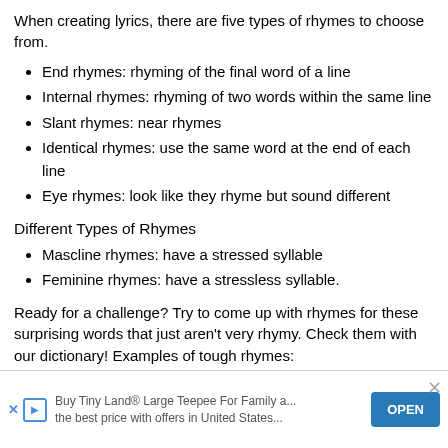When creating lyrics, there are five types of rhymes to choose from.
End rhymes: rhyming of the final word of a line
Internal rhymes: rhyming of two words within the same line
Slant rhymes: near rhymes
Identical rhymes: use the same word at the end of each line
Eye rhymes: look like they rhyme but sound different
Different Types of Rhymes
Mascline rhymes: have a stressed syllable
Feminine rhymes: have a stressless syllable.
Ready for a challenge? Try to come up with rhymes for these surprising words that just aren't very rhymy. Check them with our dictionary! Examples of tough rhymes:
Month
Silver
Bulb
W...
H...
Walrus